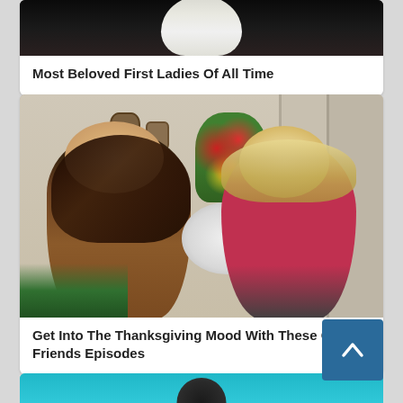[Figure (photo): Partial photo of a person in white clothing against a dark background - cropped article thumbnail for Most Beloved First Ladies]
Most Beloved First Ladies Of All Time
[Figure (photo): Two women (one with dark hair in brown jacket, one with blonde hair in red/pink top) holding a small white fluffy dog in an indoor TV set scene with flowers and wall decorations - from Friends TV show]
Get Into The Thanksgiving Mood With These Cool Friends Episodes
[Figure (photo): Partial view of a teal/cyan background card at bottom with dark hair visible - third article thumbnail]